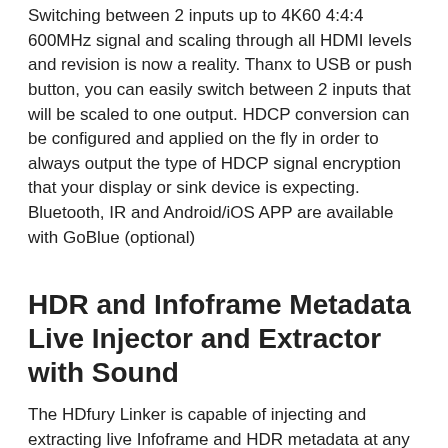Switching between 2 inputs up to 4K60 4:4:4 600MHz signal and scaling through all HDMI levels and revision is now a reality. Thanx to USB or push button, you can easily switch between 2 inputs that will be scaled to one output. HDCP conversion can be configured and applied on the fly in order to always output the type of HDCP signal encryption that your display or sink device is expecting. Bluetooth, IR and Android/iOS APP are available with GoBlue (optional)
HDR and Infoframe Metadata Live Injector and Extractor with Sound
The HDfury Linker is capable of injecting and extracting live Infoframe and HDR metadata at any resolution and in real-time while keeping HDMI sound.
A further software solution for a complete real-time handling of infoframe and HDR metadata will be available for the Linker: here from our exclusive licensed partner AV TOP.